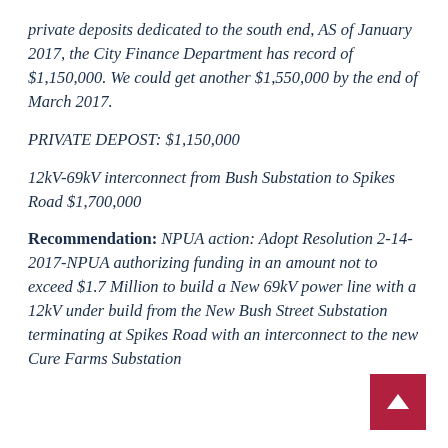private deposits dedicated to the south end, AS of January 2017, the City Finance Department has record of $1,150,000. We could get another $1,550,000 by the end of March 2017.
PRIVATE DEPOST: $1,150,000
12kV-69kV interconnect from Bush Substation to Spikes Road $1,700,000
Recommendation: NPUA action: Adopt Resolution 2-14-2017-NPUA authorizing funding in an amount not to exceed $1.7 Million to build a New 69kV power line with a 12kV under build from the New Bush Street Substation terminating at Spikes Road with an interconnect to the new Cure Farms Substation